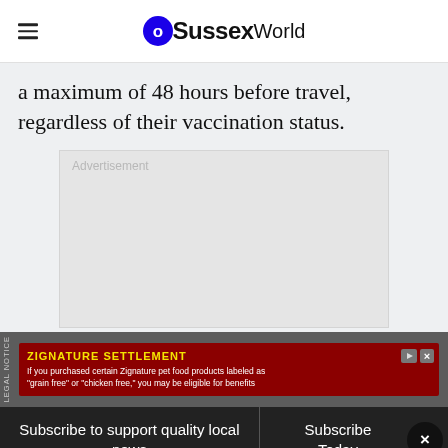OSussex World
a maximum of 48 hours before travel, regardless of their vaccination status.
[Figure (other): Advertisement placeholder box (gray rectangle with 'Advertisement' label)]
[Figure (other): Legal notice ad banner: ZIGNATURE SETTLEMENT - If you purchased certain Zignature pet food products labeled as 'grain free' or 'chicken free,' you may be eligible for benefits]
Subscribe to support quality local news | Subscribe Today